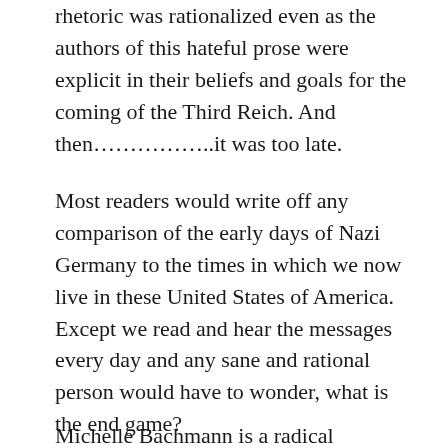rhetoric was rationalized even as the authors of this hateful prose were explicit in their beliefs and goals for the coming of the Third Reich. And then……………..it was too late.
Most readers would write off any comparison of the early days of Nazi Germany to the times in which we now live in these United States of America. Except we read and hear the messages every day and any sane and rational person would have to wonder, what is the end game?
Michelle Bachmann is a radical